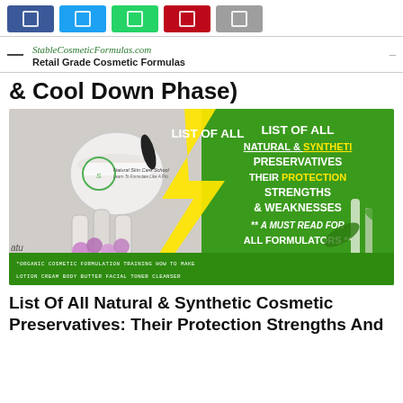[Figure (other): Social media share buttons: Facebook (blue), Twitter (cyan), WhatsApp (green), Pinterest (red), Email (grey)]
StableCosmeticFormulas.com
Retail Grade Cosmetic Formulas
& Cool Down Phase)
[Figure (infographic): Promotional image for Natural Skin Care School article about List of All Natural & Synthetic Preservatives, Their Protection Strengths & Weaknesses. Left half shows cosmetic products (cream jar, bottles, purple flowers). Right half is green background with bold white/yellow text reading: LIST OF ALL NATURAL & SYNTHETIC PRESERVATIVES THEIR PROTECTION STRENGTHS & WEAKNESSES ** A MUST READ FOR ALL FORMULATORS **. Bottom green banner reads: *ORGANIC COSMETIC FORMULATION TRAINING HOW TO MAKE LOTION CREAM BODY BUTTER FACIAL TONER CLEANSER]
List Of All Natural & Synthetic Cosmetic Preservatives: Their Protection Strengths And